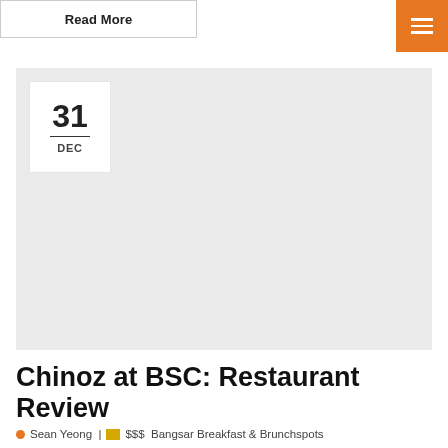Read More
[Figure (other): Orange hamburger menu button with three white horizontal lines]
[Figure (photo): Light gray placeholder image area with a white date badge showing 31 DEC in the top-left corner]
Chinoz at BSC: Restaurant Review
Sean Yeong | $$$ Bangsar Breakfast & Brunchspots